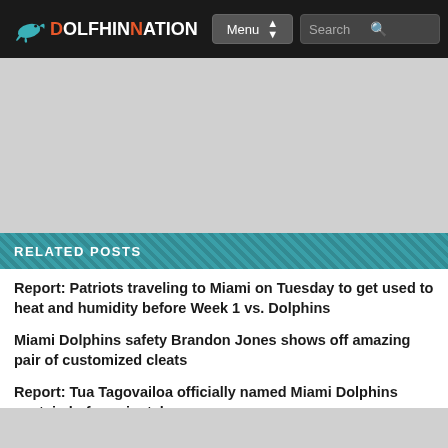DOLPHINNATION | Menu | Search
[Figure (screenshot): Gray advertisement placeholder area]
RELATED POSTS
Report: Patriots traveling to Miami on Tuesday to get used to heat and humidity before Week 1 vs. Dolphins
Miami Dolphins safety Brandon Jones shows off amazing pair of customized cleats
Report: Tua Tagovailoa officially named Miami Dolphins captain before pivotal season